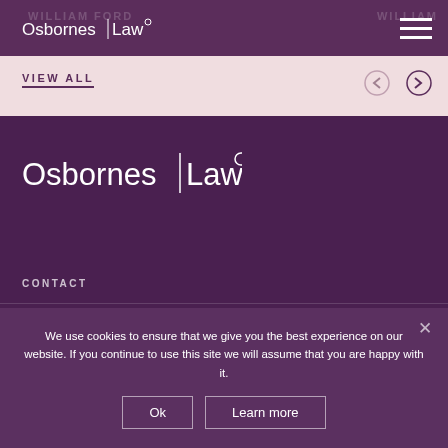WILLIAM FORD ... WILLIAM
[Figure (logo): Osbornes Law logo in white, top left header]
[Figure (illustration): Hamburger menu icon, three white horizontal lines, top right]
VIEW ALL
[Figure (illustration): Left arrow and right arrow navigation controls]
[Figure (logo): Osbornes Law logo large in white on dark purple background]
CONTACT
We use cookies to ensure that we give you the best experience on our website. If you continue to use this site we will assume that you are happy with it.
Ok
Learn more